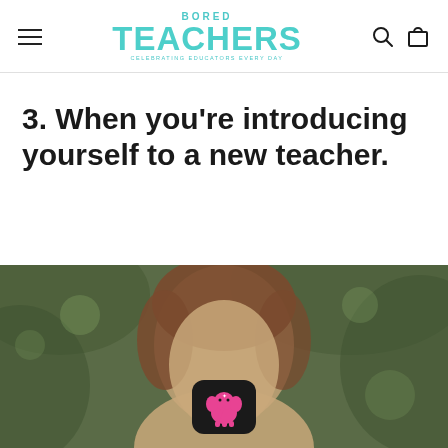BORED TEACHERS — Celebrating Educators Every Day
3. When you're introducing yourself to a new teacher.
[Figure (photo): Blurred photo of a person (man with brown hair) outdoors with a green bokeh background. A small Bored Teachers elephant logo watermark appears at the bottom center of the image.]